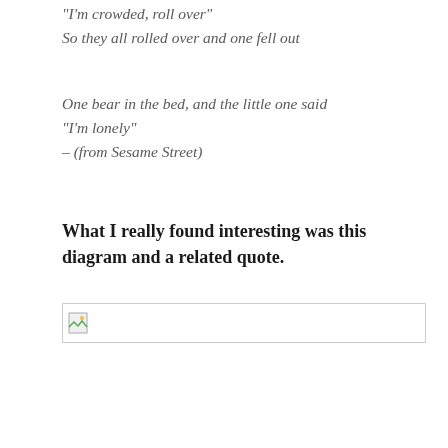“I’m crowded, roll over”
So they all rolled over and one fell out
One bear in the bed, and the little one said
“I’m lonely”
– (from Sesame Street)
What I really found interesting was this diagram and a related quote.
[Figure (other): A placeholder image box with a small image icon in the top-left corner, representing an unloaded or missing diagram image.]